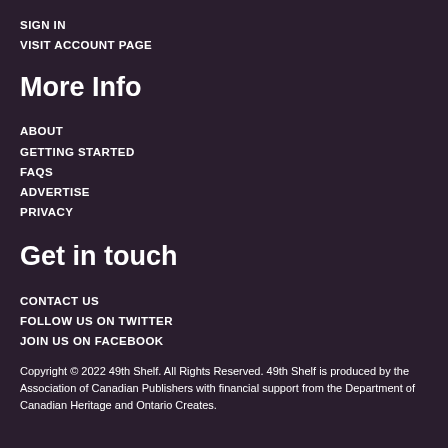SIGN IN
VISIT ACCOUNT PAGE
More Info
ABOUT
GETTING STARTED
FAQS
ADVERTISE
PRIVACY
Get in touch
CONTACT US
FOLLOW US ON TWITTER
JOIN US ON FACEBOOK
Copyright © 2022 49th Shelf. All Rights Reserved. 49th Shelf is produced by the Association of Canadian Publishers with financial support from the Department of Canadian Heritage and Ontario Creates.